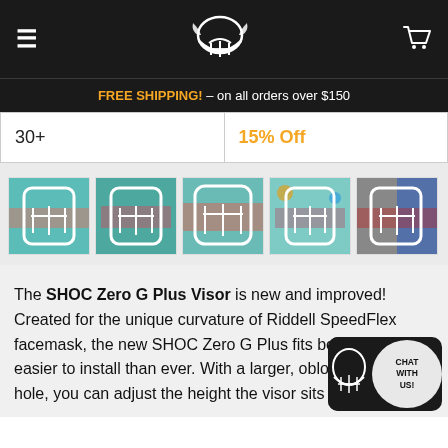Navigation header with hamburger menu, logo, and cart icon
FREE SHIPPING! – on all orders over $150
| Quantity | Discount |
| --- | --- |
| 30+ | 15% Off |
[Figure (photo): Five product thumbnail images of colorful football helmet visors]
The SHOC Zero G Plus Visor is new and improved! Created for the unique curvature of Riddell SpeedFlex facemask, the new SHOC Zero G Plus fits better and is easier to install than ever. With a larger, oblong visor clip hole, you can adjust the height the visor sits inside the face...
[Figure (illustration): Chat with us widget button in bottom right corner]